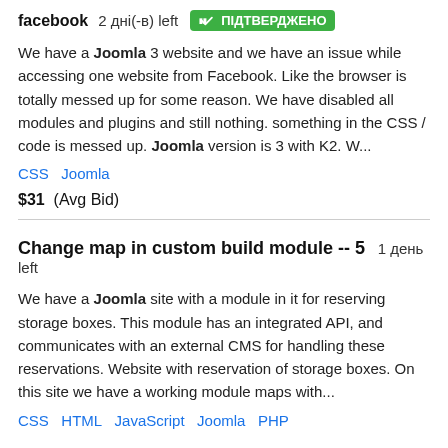facebook  2 дні(-в) left  ПІДТВЕРДЖЕНО
We have a Joomla 3 website and we have an issue while accessing one website from Facebook. Like the browser is totally messed up for some reason. We have disabled all modules and plugins and still nothing. something in the CSS / code is messed up. Joomla version is 3 with K2. W...
CSS  Joomla
$31  (Avg Bid)
Change map in custom build module -- 5  1 день left
We have a Joomla site with a module in it for reserving storage boxes. This module has an integrated API, and communicates with an external CMS for handling these reservations. Website with reservation of storage boxes. On this site we have a working module maps with...
CSS  HTML  JavaScript  Joomla  PHP